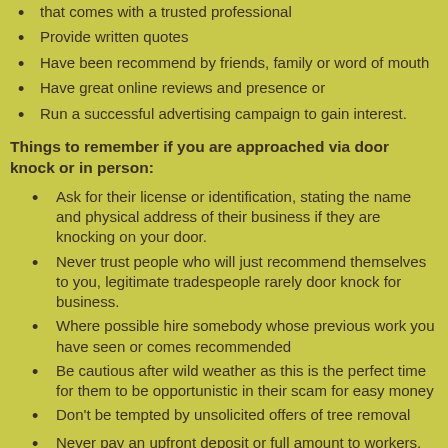that comes with a trusted professional
Provide written quotes
Have been recommend by friends, family or word of mouth
Have great online reviews and presence or
Run a successful advertising campaign to gain interest.
Things to remember if you are approached via door knock or in person:
Ask for their license or identification, stating the name and physical address of their business if they are knocking on your door.
Never trust people who will just recommend themselves to you, legitimate tradespeople rarely door knock for business.
Where possible hire somebody whose previous work you have seen or comes recommended
Be cautious after wild weather as this is the perfect time for them to be opportunistic in their scam for easy money
Don't be tempted by unsolicited offers of tree removal
Never pay an upfront deposit or full amount to workers,